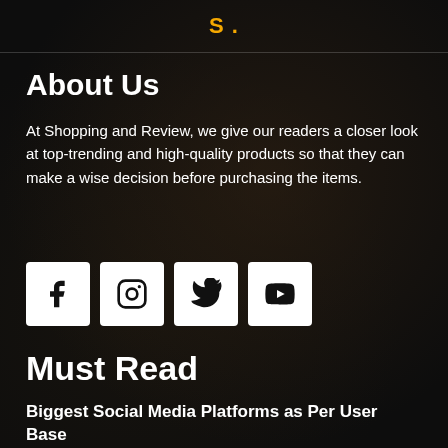S .
About Us
At Shopping and Review, we give our readers a closer look at top-trending and high-quality products so that they can make a wise decision before purchasing the items.
[Figure (infographic): Four white square social media icon buttons: Facebook (f), Instagram (camera), Twitter (bird), YouTube (play button)]
Must Read
Biggest Social Media Platforms as Per User Base